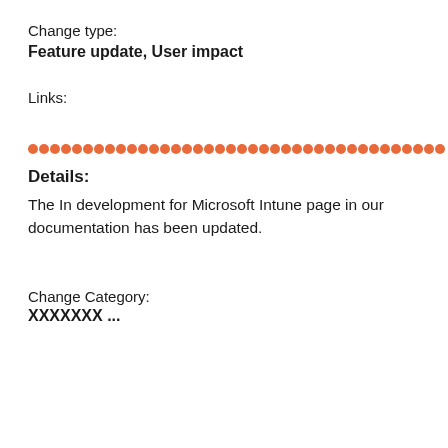Change type:
Feature update, User impact
Links:
[Figure (other): Horizontal dotted divider line made of orange/salmon colored circles]
Details:
The In development for Microsoft Intune page in our documentation has been updated.
Change Category:
XXXXXXX ...